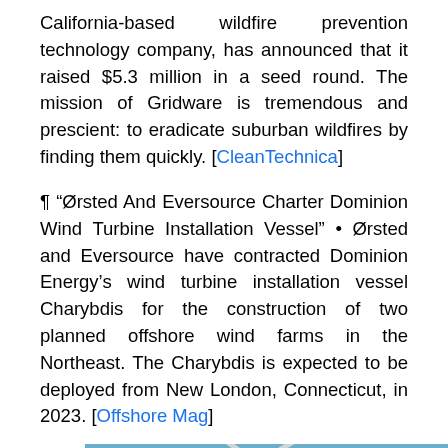California-based wildfire prevention technology company, has announced that it raised $5.3 million in a seed round. The mission of Gridware is tremendous and prescient: to eradicate suburban wildfires by finding them quickly. [CleanTechnica]
¶ “Ørsted And Eversource Charter Dominion Wind Turbine Installation Vessel” • Ørsted and Eversource have contracted Dominion Energy’s wind turbine installation vessel Charybdis for the construction of two planned offshore wind farms in the Northeast. The Charybdis is expected to be deployed from New London, Connecticut, in 2023. [Offshore Mag]
[Figure (photo): Photo of a wind turbine against a blue sky with white clouds, with a red crane or lift mechanism visible at the top of the turbine tower]